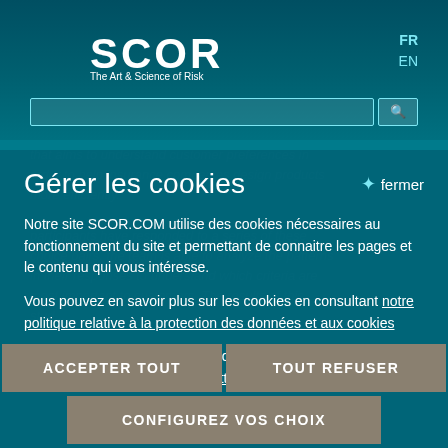SCOR – The Art & Science of Risk | FR EN
Gérer les cookies
Notre site SCOR.COM utilise des cookies nécessaires au fonctionnement du site et permettant de connaitre les pages et le contenu qui vous intéresse.
Vous pouvez en savoir plus sur les cookies en consultant notre politique relative à la protection des données et aux cookies
Nous conservons vos choix pendant 100 jours. Vous pouvez changer d'avis en consultant cette page.
ACCEPTER TOUT
TOUT REFUSER
CONFIGUREZ VOS CHOIX